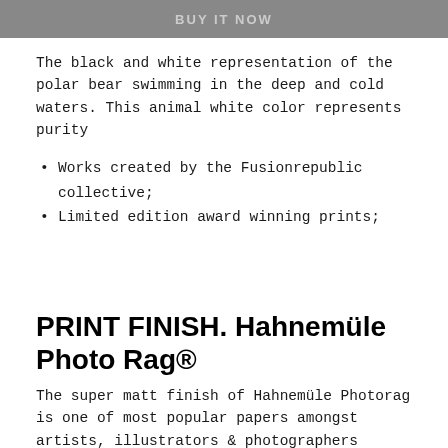[Figure (other): Dark grey banner with faded/watermarked text at the top of the page]
The black and white representation of the polar bear swimming in the deep and cold waters. This animal white color represents purity
Works created by the Fusionrepublic collective;
Limited edition award winning prints;
PRINT FINISH. Hahnemüle Photo Rag®
The super matt finish of Hahnemüle Photorag is one of most popular papers amongst artists, illustrators & photographers alike. With muted blacks, even colour reproduction, and excellent detail. The surface has minimal texture with a chalky smooth